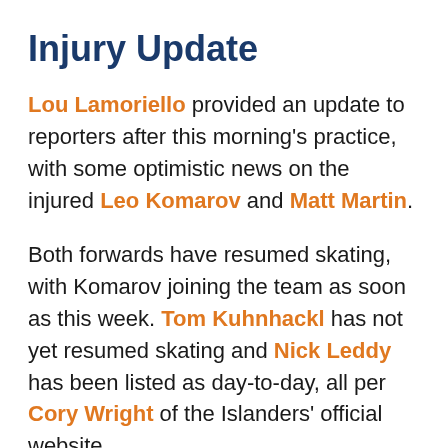Injury Update
Lou Lamoriello provided an update to reporters after this morning's practice, with some optimistic news on the injured Leo Komarov and Matt Martin.
Both forwards have resumed skating, with Komarov joining the team as soon as this week. Tom Kuhnhackl has not yet resumed skating and Nick Leddy has been listed as day-to-day, all per Cory Wright of the Islanders' official website.
Initially slated to miss around six weeks, Martin could be back around a week sooner than expected. Andrew Ladd is in the end of his conditioning stint